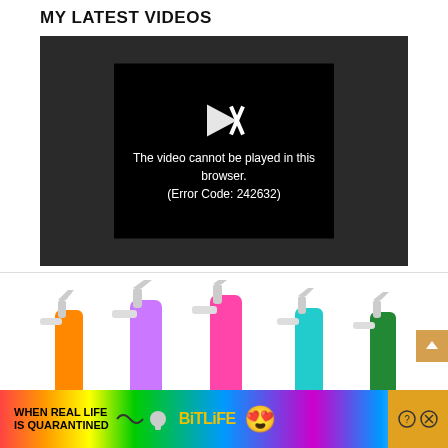MY LATEST VIDEOS
[Figure (screenshot): Video player showing error message: The video cannot be played in this browser. (Error Code: 242632). Dark background with broken play icon.]
[Figure (photo): Row of colorful spray bottle cleaning products with clear trigger tops, in orange, purple, pink, teal, and green colors.]
[Figure (other): Advertisement banner for BitLife game with rainbow background. Text reads WHEN REAL LIFE IS QUARANTINED with BitLife logo and emoji graphics.]